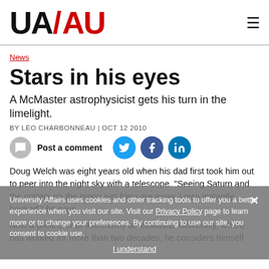UA/AU logo and navigation
News
Stars in his eyes
A McMaster astrophysicist gets his turn in the limelight.
BY LÉO CHARBONNEAU | OCT 12 2010
Post a comment
Doug Welch was eight years old when his dad first took him out to peer into the night sky with a telescope. "Seeing Saturn and the craters on the moon just blew me away. I was instantly hooked," he says.
Now a professor of astronomy at McMaster University, where has worked for more than two decades, he considers himself
University Affairs uses cookies and other tracking tools to offer you a better experience when you visit our site. Visit our Privacy Policy page to learn more or to change your preferences. By continuing to use our site, you consent to cookie use.